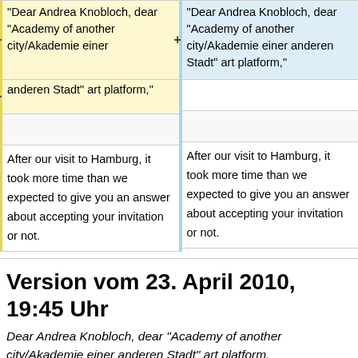"Dear Andrea Knobloch, dear "Academy of another city/Akademie einer
"Dear Andrea Knobloch, dear "Academy of another city/Akademie einer anderen Stadt" art platform,"
anderen Stadt" art platform,"
After our visit to Hamburg, it took more time than we expected to give you an answer about accepting your invitation or not.
After our visit to Hamburg, it took more time than we expected to give you an answer about accepting your invitation or not.
Version vom 23. April 2010, 19:45 Uhr
Dear Andrea Knobloch, dear "Academy of another city/Akademie einer anderen Stadt" art platform,